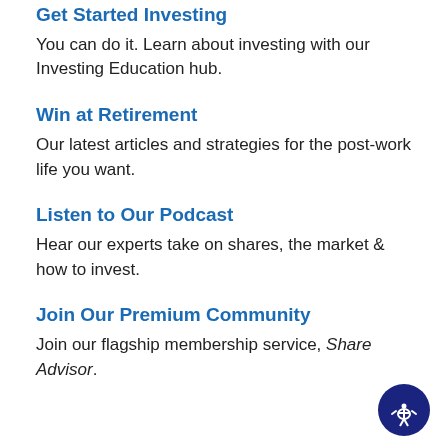Get Started Investing
You can do it. Learn about investing with our Investing Education hub.
Win at Retirement
Our latest articles and strategies for the post-work life you want.
Listen to Our Podcast
Hear our experts take on shares, the market & how to invest.
Join Our Premium Community
Join our flagship membership service, Share Advisor.